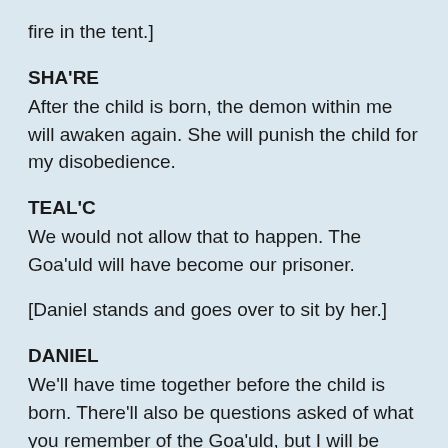fire in the tent.]
SHA'RE
After the child is born, the demon within me will awaken again. She will punish the child for my disobedience.
TEAL'C
We would not allow that to happen. The Goa'uld will have become our prisoner.
[Daniel stands and goes over to sit by her.]
DANIEL
We'll have time together before the child is born. There'll also be questions asked of what you remember of the Goa'uld, but I will be there the whole time. I won't let them hurt you. We can study what keeps the Goa'uld dormant, there may even be a way we can remain together.
KASUF